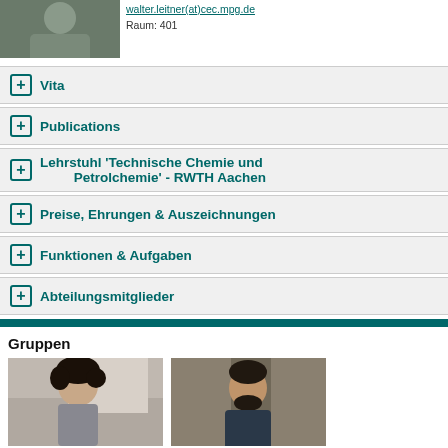[Figure (photo): Top-left photo of a person outdoors, partially cropped]
walter.leitner(at)cec.mpg.de
Raum: 401
+ Vita
+ Publications
+ Lehrstuhl 'Technische Chemie und Petrolchemie' - RWTH Aachen
+ Preise, Ehrungen & Auszeichnungen
+ Funktionen & Aufgaben
+ Abteilungsmitglieder
Gruppen
[Figure (photo): Person with curly dark hair and beard, smiling indoors]
[Figure (photo): Person with dark hair and beard standing outdoors near a tree]